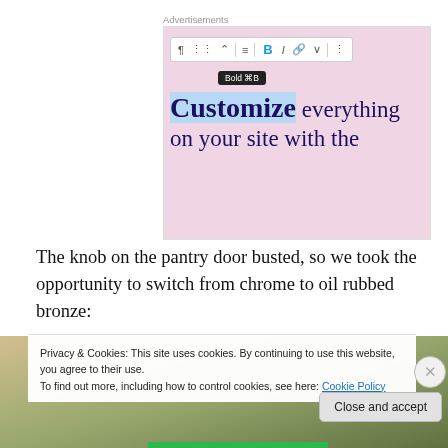Advertisements
[Figure (screenshot): Screenshot of a website editor showing a toolbar with Bold button highlighted and a tooltip reading 'Bold ⌘B'. Below the toolbar is text reading 'Customize everything on your site with the' in large serif font on a pink background. The word 'Customize' is highlighted in blue and styled bold.]
The knob on the pantry door busted, so we took the opportunity to switch from chrome to oil rubbed bronze:
[Figure (photo): Partial photo visible behind cookie banner, showing greenery/outdoor scene.]
Privacy & Cookies: This site uses cookies. By continuing to use this website, you agree to their use.
To find out more, including how to control cookies, see here: Cookie Policy
Close and accept